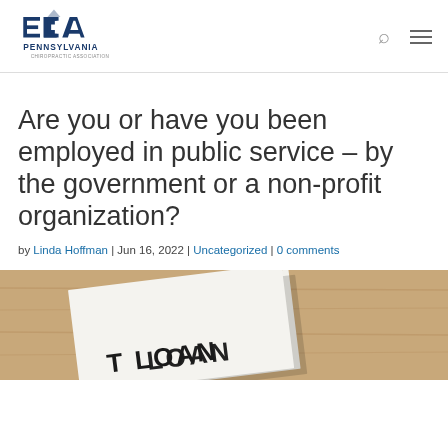Pennsylvania Chiropractic Association logo, search icon, hamburger menu
Are you or have you been employed in public service – by the government or a non-profit organization?
by Linda Hoffman | Jun 16, 2022 | Uncategorized | 0 comments
[Figure (photo): Photo of a document on a wooden surface with text 'LOAN' partially visible]